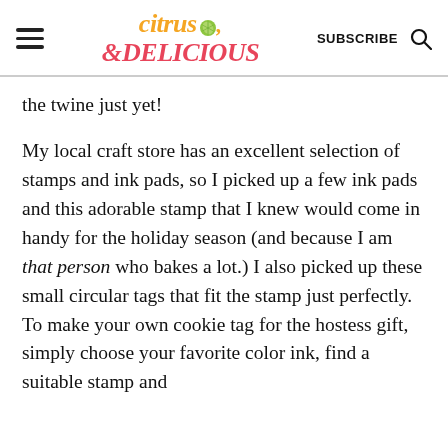citrus & DELICIOUS — SUBSCRIBE
the twine just yet!
My local craft store has an excellent selection of stamps and ink pads, so I picked up a few ink pads and this adorable stamp that I knew would come in handy for the holiday season (and because I am that person who bakes a lot.) I also picked up these small circular tags that fit the stamp just perfectly. To make your own cookie tag for the hostess gift, simply choose your favorite color ink, find a suitable stamp and